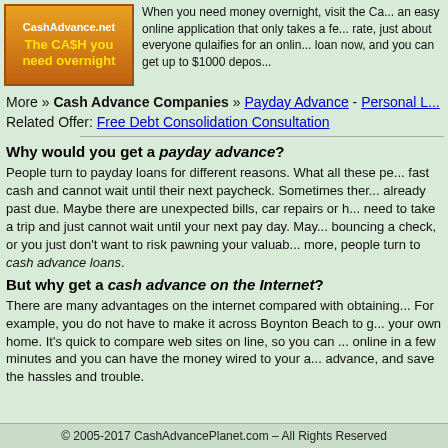[Figure (logo): CashAdvance.net logo with orange/brown gradient background, white text 'CashAdvance.net' and yellow bold text 'The CA$H you need overnight']
When you need money overnight, visit the CashAdvance.net an easy online application that only takes a fe... rate, just about everyone qulaifies for an onlin... loan now, and you can get up to $1000 depos...
More » Cash Advance Companies » Payday Advance - Personal L...
Related Offer: Free Debt Consolidation Consultation
Why would you get a payday advance?
People turn to payday loans for different reasons. What all these pe... fast cash and cannot wait until their next paycheck. Sometimes ther... already past due. Maybe there are unexpected bills, car repairs or h... need to take a trip and just cannot wait until your next pay day. May... bouncing a check, or you just don't want to risk pawning your valuab... more, people turn to cash advance loans.
But why get a cash advance on the Internet?
There are many advantages on the internet compared with obtaining... For example, you do not have to make it across Boynton Beach to g... your own home. It's quick to compare web sites on line, so you can ... online in a few minutes and you can have the money wired to your a... advance, and save the hassles and trouble.
© 2005-2017 CashAdvancePlanet.com – All Rights Reserved